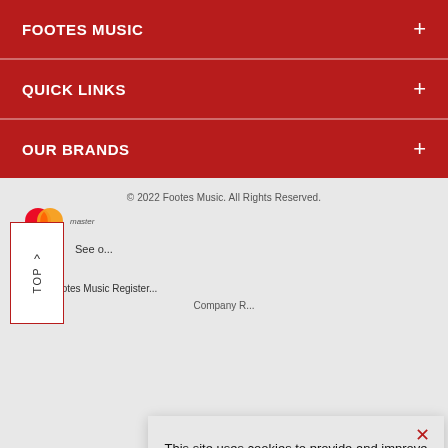FOOTES MUSIC
QUICK LINKS
OUR BRANDS
© 2022 Footes Music. All Rights Reserved.
[Figure (logo): Mastercard logo with two overlapping red and orange circles]
^ TOP
See o...
Footes Music Register...
Company R...
This site uses cookies to provide and improve your shopping experience. If you want to benefit from this improved service, please opt-in. Cookies Page. I opt-in to a better browsing experience
ACCEPT COOKIES